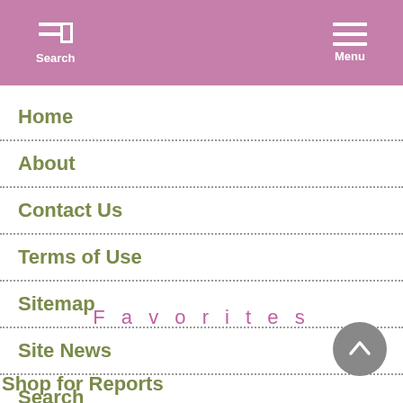Search  Menu
Home
About
Contact Us
Terms of Use
Sitemap
Site News
Search
Favorites
Shop for Reports